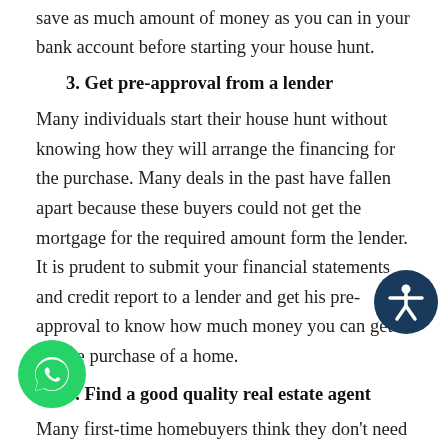save as much amount of money as you can in your bank account before starting your house hunt.
3. Get pre-approval from a lender
Many individuals start their house hunt without knowing how they will arrange the financing for the purchase. Many deals in the past have fallen apart because these buyers could not get the mortgage for the required amount form the lender. It is prudent to submit your financial statements and credit report to a lender and get his pre-approval to know how much money you can get for the purchase of a home.
4. Find a good quality real estate agent
Many first-time homebuyers think they don't need to hire the services of a real estate agent as they have enough information available on the net. They think they can save on the commission of the agent in this manner.